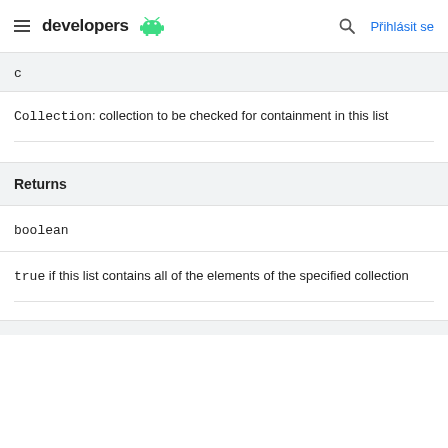developers  [Android logo]  [Search icon]  Přihlásit se
c
Collection: collection to be checked for containment in this list
Returns
boolean
true if this list contains all of the elements of the specified collection